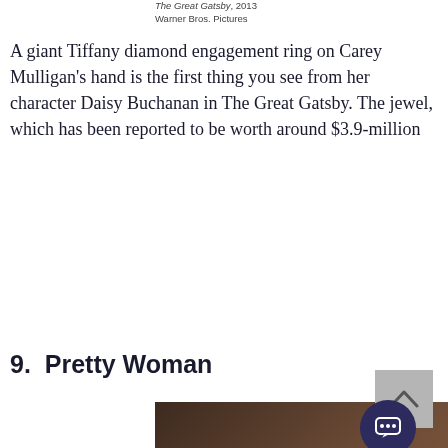The Great Gatsby, 2013
Warner Bros. Pictures
A giant Tiffany diamond engagement ring on Carey Mulligan's hand is the first thing you see from her character Daisy Buchanan in The Great Gatsby. The jewel, which has been reported to be worth around $3.9-million
9.  Pretty Woman
[Figure (photo): Movie still from Pretty Woman showing a woman in formal wear with a ruby necklace and a man in a tuxedo beside her]